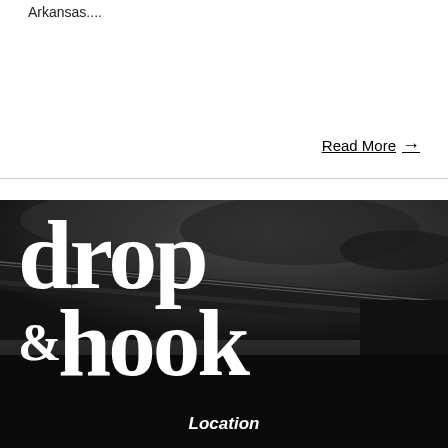Arkansas....
Read More →
[Figure (photo): Black and white photo of a bridge or overpass structure at night with dramatic cloudy sky, serving as background for the drop & hook logo]
drop & hook
Location